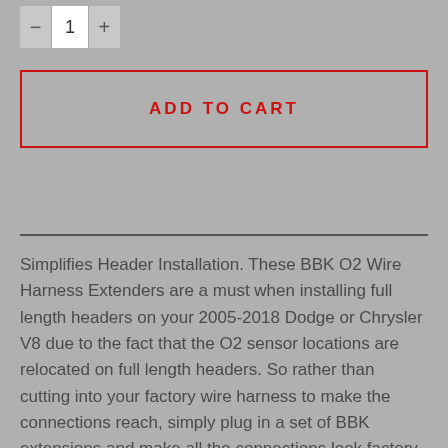[Figure (other): Quantity selector with minus button, number 1, and plus button]
ADD TO CART
Simplifies Header Installation. These BBK O2 Wire Harness Extenders are a must when installing full length headers on your 2005-2018 Dodge or Chrysler V8 due to the fact that the O2 sensor locations are relocated on full length headers. So rather than cutting into your factory wire harness to make the connections reach, simply plug in a set of BBK extensions and make all the connections look factory with no mess. Easy Installation. OEM connectors and heat protective sleeves are used to make installation a snap. Simply